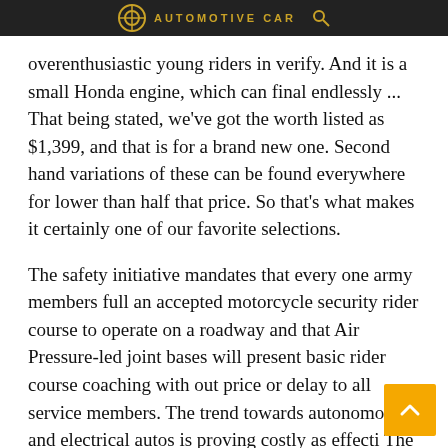AUTOMOTIVE CAR
overenthusiastic young riders in verify. And it is a small Honda engine, which can final endlessly ... That being stated, we've got the worth listed as $1,399, and that is for a brand new one. Second hand variations of these can be found everywhere for lower than half that price. So that's what makes it certainly one of our favorite selections.
The safety initiative mandates that every one army members full an accepted motorcycle security rider course to operate on a roadway and that Air Pressure-led joint bases will present basic rider course coaching with out price or delay to all service members. The trend towards autonomous and electrical autos is proving costly as effecti... The new technologies require significant resear...